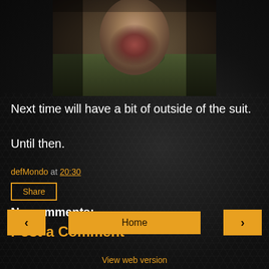[Figure (photo): Partial view of a costumed or suited figure, showing upper torso and face area with beard, in dark dramatic lighting. Image is cropped showing only the upper portion of the character.]
Next time will have a bit of outside of the suit.
Until then.
defMondo at 20:30
Share
No comments:
Post a Comment
< Home >
View web version